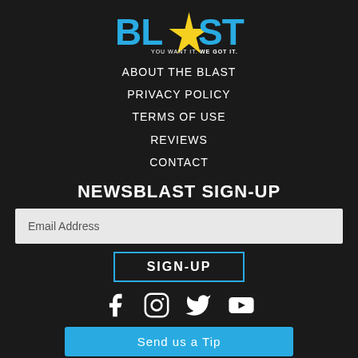[Figure (logo): BLAST logo with star graphic, blue bold text reading BL*ST with a yellow star, tagline YOU WANT IT. WE GOT IT.]
ABOUT THE BLAST
PRIVACY POLICY
TERMS OF USE
REVIEWS
CONTACT
NEWSBLAST SIGN-UP
Email Address (input field)
SIGN-UP (button)
[Figure (infographic): Social media icons: Facebook, Instagram, Twitter, YouTube]
Send us a Tip (button, partially visible)